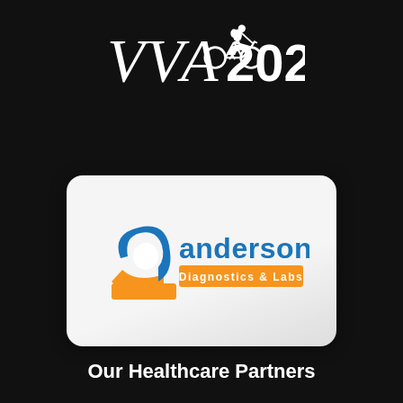[Figure (logo): VVA 2020 logo with cyclist silhouette in white on black background]
[Figure (logo): Anderson Diagnostics & Labs logo — blue arc/letter 'a' icon with orange swoosh, blue 'anderson' text, orange 'Diagnostics & Labs' banner — on a rounded silver card]
Our Healthcare Partners